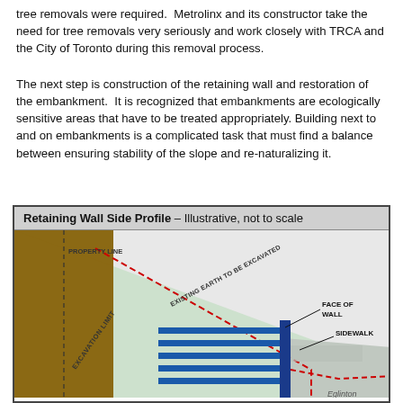tree removals were required.  Metrolinx and its constructor take the need for tree removals very seriously and work closely with TRCA and the City of Toronto during this removal process.
The next step is construction of the retaining wall and restoration of the embankment.  It is recognized that embankments are ecologically sensitive areas that have to be treated appropriately.  Building next to and on embankments is a complicated task that must find a balance between ensuring stability of the slope and re-naturalizing it.
[Figure (engineering-diagram): Retaining Wall Side Profile – Illustrative, not to scale. Diagram shows a cross-section with a brown earth embankment on the left, a dashed property line at top left, a red dashed excavation limit line, a light green area labeled 'Existing Earth to be Excavated', a blue vertical retaining wall with horizontal blue anchors/tiebacks, labels for Face of Wall, Sidewalk, Excavation Limit, and partial label 'Eglinton' at bottom right.]